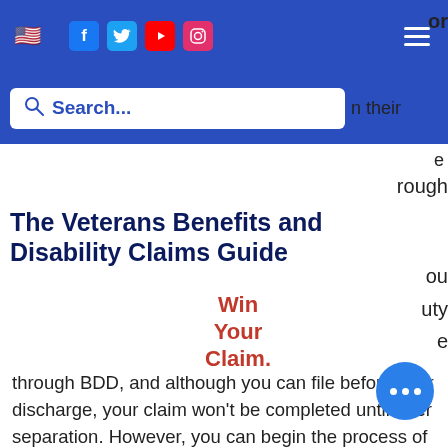Navigation bar with US flag, social media icons (Facebook, Twitter, YouTube, Instagram), and hamburger menu
Search...
The Veterans Benefits and Disability Claims Guide
Win
Your
Claim.
through BDD, and although you can file before your discharge, your claim won't be completed until after separation. However, you can begin the process of filing your claim(s).
A post-service claim can be made any time following your separation from active duty. However, the later yo your claim following your service, the